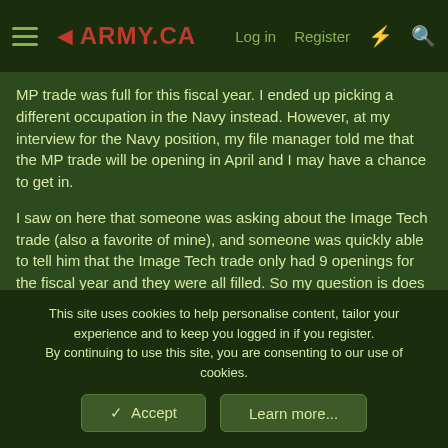ARMY.CA — Log in | Register
MP trade was full for this fiscal year. I ended up picking a different occupation in the Navy instead. However, at my interview for the Navy position, my file manager told me that the MP trade will be opening in April and I may have a chance to get in.
I saw on here that someone was asking about the Image Tech trade (also a favorite of mine), and someone was quickly able to tell him that the Image Tech trade only had 9 openings for the fiscal year and they were all filled. So my question is does anyone have any insight into how many MP are going to be hired for the 2020 fiscal year?
EDIT: Disregard, I see there is a mega-thread posted every fi...
This site uses cookies to help personalise content, tailor your experience and to keep you logged in if you register.
By continuing to use this site, you are consenting to our use of cookies.